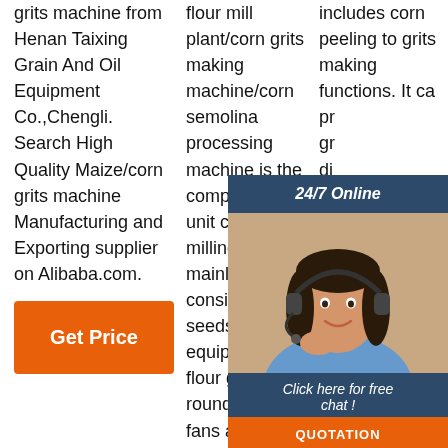grits machine from Henan Taixing Grain And Oil Equipment Co.,Chengli. Search High Quality Maize/corn grits machine Manufacturing and Exporting supplier on Alibaba.com.
flour mill plant/corn grits making machine/corn semolina processing machine is the complete small unit corn milling plant. It mainly consists of seeds cleaning equipment, flour grinder, round sieve, fans and
includes corn peeling to grits making functions. It ca... pr... gr... di... It ac... si... op... reasonable design, low energy consumption and high
[Figure (infographic): 24/7 online chat widget with a photo of a woman with headset, dark blue header saying '24/7 Online', italic text 'Click here for free chat!', and an orange QUOTATION button]
[Figure (logo): TOP badge - orange circle with dots and red TOP text]
Get Price